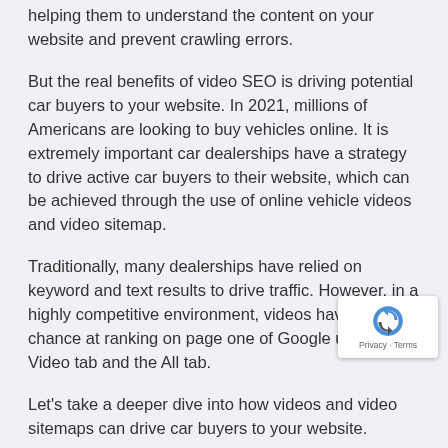helping them to understand the content on your website and prevent crawling errors.
But the real benefits of video SEO is driving potential car buyers to your website. In 2021, millions of Americans are looking to buy vehicles online. It is extremely important car dealerships have a strategy to drive active car buyers to their website, which can be achieved through the use of online vehicle videos and video sitemap.
Traditionally, many dealerships have relied on keyword and text results to drive traffic. However, in a highly competitive environment, videos have a better chance at ranking on page one of Google under the Video tab and the All tab.
Let's take a deeper dive into how videos and video sitemaps can drive car buyers to your website.
What is a Video